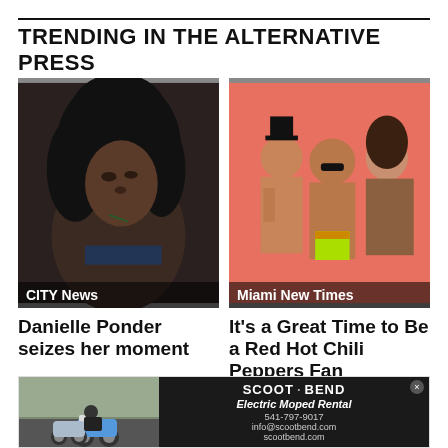TRENDING IN THE ALTERNATIVE PRESS
[Figure (photo): Close-up of a Black woman with natural hair looking upward in dim lighting, with 'CITY News' label overlay]
[Figure (photo): Three members of Red Hot Chili Peppers posing against a pink background, with 'Miami New Times' label overlay]
Danielle Ponder seizes her moment
It's a Great Time to Be a Red Hot Chili Peppers Fan
[Figure (photo): Advertisement for Scoot Bend Electric Moped Rental showing two mopeds and a rider, with contact info: 541-797-9017, info@scootbend.com, scootbend.com]